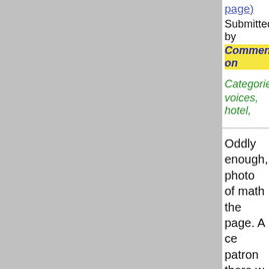page)
Submitted by
Comment on
Categories
voices, hotel,
Oddly enough photo of math the page. A ce patron there w accident some One night onl there and his f building. A dark haired men came in f entrance, wait could not get bartender was the building.